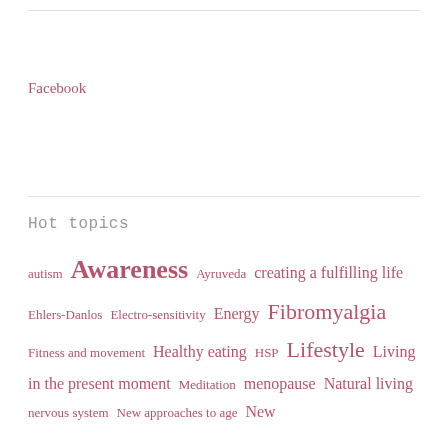Facebook
Hot topics
autism Awareness Ayruveda creating a fulfilling life Ehlers-Danlos Electro-sensitivity Energy Fibromyalgia Fitness and movement Healthy eating HSP Lifestyle Living in the present moment Meditation menopause Natural living nervous system New approaches to age New